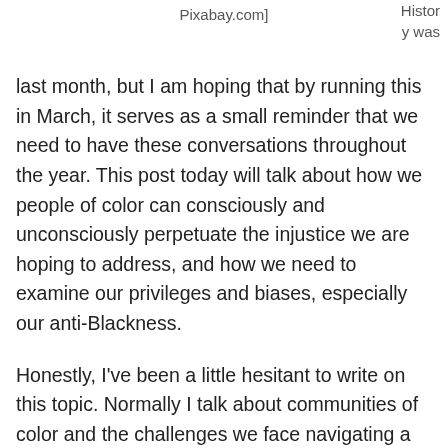Pixabay.com]
History was
last month, but I am hoping that by running this in March, it serves as a small reminder that we need to have these conversations throughout the year. This post today will talk about how we people of color can consciously and unconsciously perpetuate the injustice we are hoping to address, and how we need to examine our privileges and biases, especially our anti-Blackness.
Honestly, I’ve been a little hesitant to write on this topic. Normally I talk about communities of color and the challenges we face navigating a white-dominant culture. I am hesitant to point out dynamics among communities of color, and I know other leaders of color are too, because oftentimes,